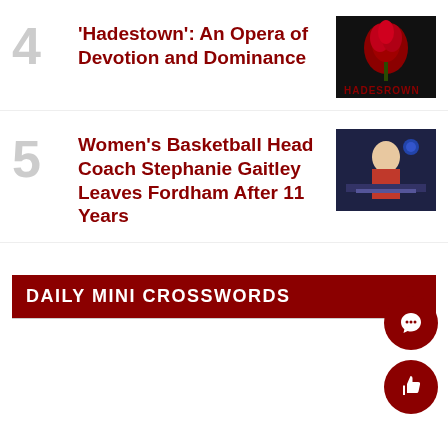4 'Hadestown': An Opera of Devotion and Dominance
[Figure (photo): Thumbnail image for Hadestown article - dark background with red rose]
5 Women's Basketball Head Coach Stephanie Gaitley Leaves Fordham After 11 Years
[Figure (photo): Thumbnail image for basketball article - woman at podium]
DAILY MINI CROSSWORDS